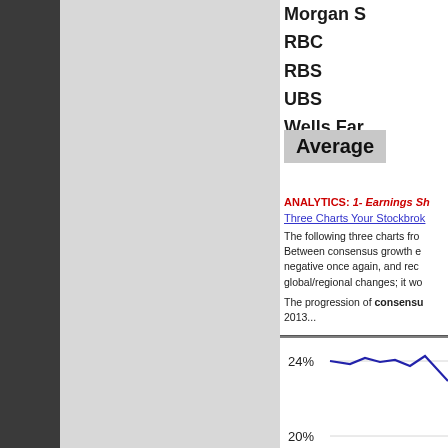Morgan S
RBC
RBS
UBS
Wells Far
Average
ANALYTICS: 1- Earnings Sh
Three Charts Your Stockbrok
The following three charts fro Between consensus growth e negative once again, and rec global/regional changes; it wo
The progression of consensus 2013...
[Figure (line-chart): Line chart showing percentage values, with 24% and 20% visible on y-axis, partial view cropped at bottom]